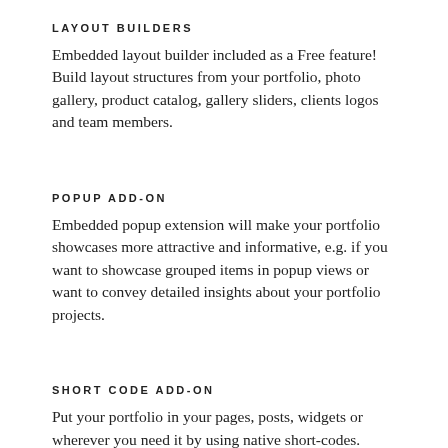LAYOUT BUILDERS
Embedded layout builder included as a Free feature! Build layout structures from your portfolio, photo gallery, product catalog, gallery sliders, clients logos and team members.
POPUP ADD-ON
Embedded popup extension will make your portfolio showcases more attractive and informative, e.g. if you want to showcase grouped items in popup views or want to convey detailed insights about your portfolio projects.
SHORT CODE ADD-ON
Put your portfolio in your pages, posts, widgets or wherever you need it by using native short-codes.